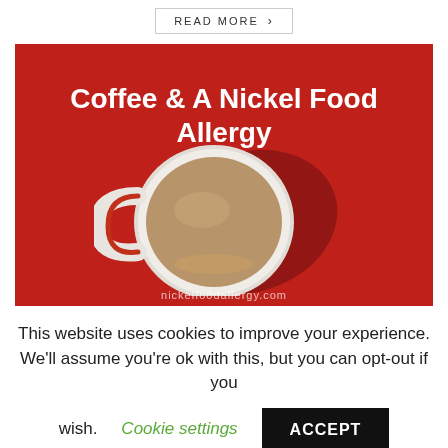READ MORE >
[Figure (photo): Photo of a white coffee mug from above on a red background with text 'Coffee & A Nickel Food Allergy' and watermark 'nickelfoodallergy.com']
This website uses cookies to improve your experience. We'll assume you're ok with this, but you can opt-out if you wish.  Cookie settings  ACCEPT